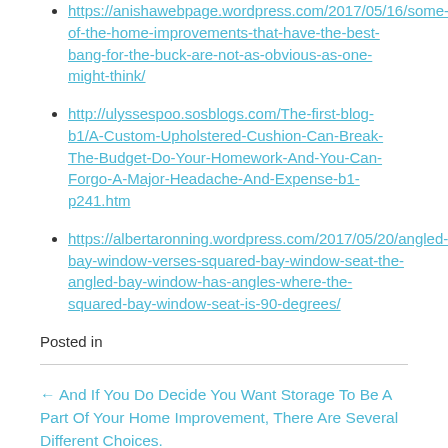https://anishawebpage.wordpress.com/2017/05/16/some-of-the-home-improvements-that-have-the-best-bang-for-the-buck-are-not-as-obvious-as-one-might-think/
http://ulyssespoo.sosblogs.com/The-first-blog-b1/A-Custom-Upholstered-Cushion-Can-Break-The-Budget-Do-Your-Homework-And-You-Can-Forgo-A-Major-Headache-And-Expense-b1-p241.htm
https://albertaronning.wordpress.com/2017/05/20/angled-bay-window-verses-squared-bay-window-seat-the-angled-bay-window-has-angles-where-the-squared-bay-window-seat-is-90-degrees/
Posted in
← And If You Do Decide You Want Storage To Be A Part Of Your Home Improvement, There Are Several Different Choices.
A Custom Upholstered Cushion Can Break The Budget - Do Your